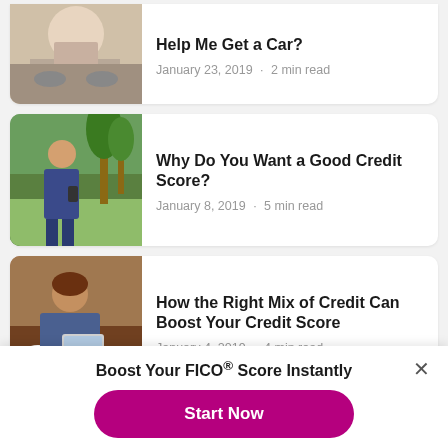[Figure (photo): Woman sitting in a car, partial view cropped at top]
Help Me Get a Car?
January 23, 2019 · 2 min read
[Figure (photo): Young woman with phone outdoors near palm trees]
Why Do You Want a Good Credit Score?
January 8, 2019 · 5 min read
[Figure (photo): Woman using tablet at a cafe]
How the Right Mix of Credit Can Boost Your Credit Score
January 4, 2019 · 4 min read
Boost Your FICO® Score Instantly
Start Now